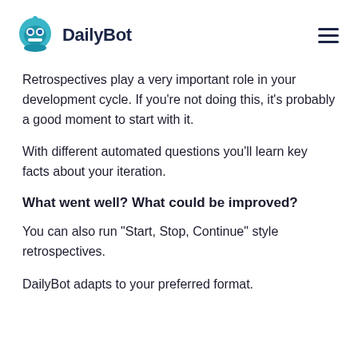DailyBot
Retrospectives play a very important role in your development cycle. If you're not doing this, it's probably a good moment to start with it.
With different automated questions you'll learn key facts about your iteration.
What went well? What could be improved?
You can also run "Start, Stop, Continue" style retrospectives.
DailyBot adapts to your preferred format.